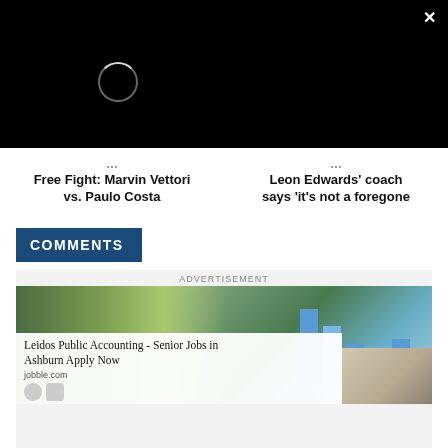[Figure (screenshot): Black video player area with loading spinner circle and close (×) button in top-right corner]
Free Fight: Marvin Vettori vs. Paulo Costa
Leon Edwards' coach says 'it's not a foregone
COMMENTS
[Figure (screenshot): Advertisement showing a woman in hijab and lab coat examining a vial, with blue bar chart elements in background]
ADVERTISEMENT
Leidos Public Accounting - Senior Jobs in Ashburn Apply Now
jobble.com